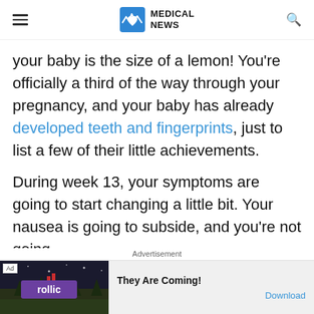MEDICAL NEWS
your baby is the size of a lemon! You're officially a third of the way through your pregnancy, and your baby has already developed teeth and fingerprints, just to list a few of their little achievements.
During week 13, your symptoms are going to start changing a little bit. Your nausea is going to subside, and you're not going
Advertisement
[Figure (screenshot): Ad banner for Rollic game 'They Are Coming!' with dark game screenshot background, Rollic purple logo, and Download button]